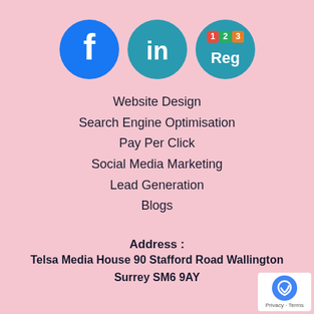[Figure (logo): Three social/service logos: Facebook (blue circle with white f), LinkedIn (teal circle with white 'in'), and 123Reg (teal circle with colored number tiles and 'Reg' text)]
Website Design
Search Engine Optimisation
Pay Per Click
Social Media Marketing
Lead Generation
Blogs
Address :
Telsa Media House 90 Stafford Road Wallington Surrey SM6 9AY